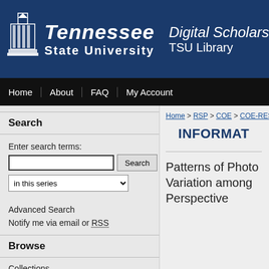[Figure (logo): Tennessee State University logo with building icon and university name in white on dark blue background, alongside 'Digital Scholars / TSU Library' text]
Home | About | FAQ | My Account
Search
Enter search terms:
in this series
Advanced Search
Notify me via email or RSS
Browse
Collections
Home > RSP > COE > COE-RES
INFORMAT
Patterns of Photo Variation among Perspective